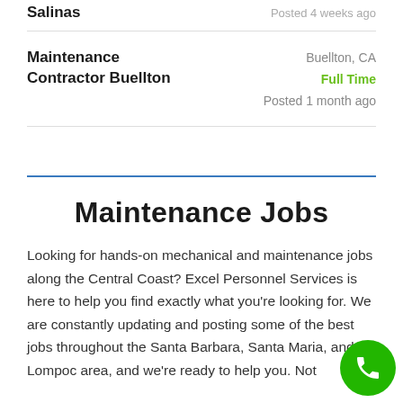Salinas — Posted 4 weeks ago
Maintenance Contractor Buellton — Buellton, CA — Full Time — Posted 1 month ago
Maintenance Jobs
Looking for hands-on mechanical and maintenance jobs along the Central Coast? Excel Personnel Services is here to help you find exactly what you're looking for. We are constantly updating and posting some of the best jobs throughout the Santa Barbara, Santa Maria, and Lompoc area, and we're ready to help you. Not